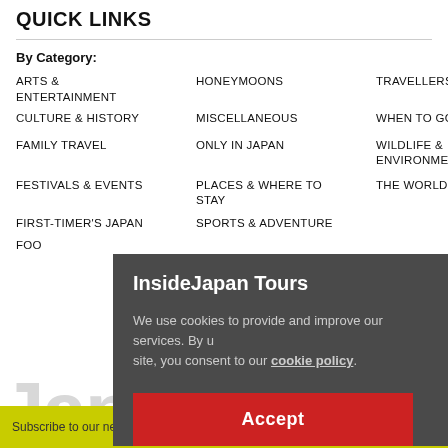QUICK LINKS
By Category:
ARTS & ENTERTAINMENT
HONEYMOONS
TRAVELLERS' TALES
CULTURE & HISTORY
MISCELLANEOUS
WHEN TO GO
FAMILY TRAVEL
ONLY IN JAPAN
WILDLIFE & ENVIRONMENT
FESTIVALS & EVENTS
PLACES & WHERE TO STAY
THE WORLD OF IJT
FIRST-TIMER'S JAPAN
SPORTS & ADVENTURE
FOO
InsideJapan Tours
We use cookies to provide and improve our services. By using our site, you consent to our cookie policy.
Accept
Subscribe to our newsletter  Email address  ×